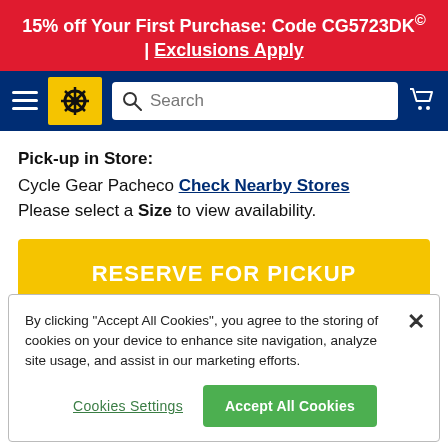15% off Your First Purchase: Code CG5723DK© | Exclusions Apply
[Figure (screenshot): Navy navigation bar with hamburger menu, Cycle Gear logo in yellow box, search bar, and shopping cart icon]
Pick-up in Store:
Cycle Gear Pacheco Check Nearby Stores
Please select a Size to view availability.
RESERVE FOR PICKUP
By clicking "Accept All Cookies", you agree to the storing of cookies on your device to enhance site navigation, analyze site usage, and assist in our marketing efforts.
Cookies Settings
Accept All Cookies